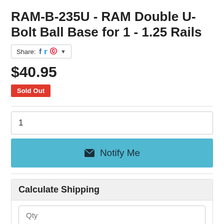RAM-B-235U - RAM Double U-Bolt Ball Base for 1 - 1.25 Rails
Share: [Facebook] [Twitter] [Pinterest] ▼
$40.95
Sold Out
1
✉ Notify Me
Calculate Shipping
Qty